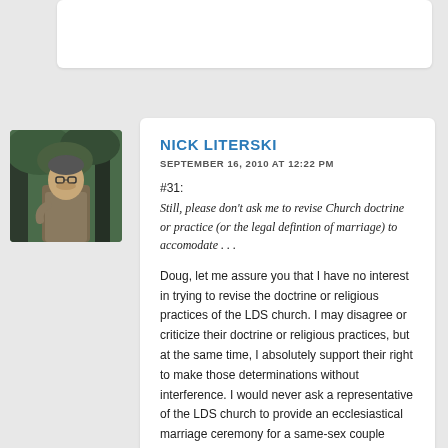Reply (partial top card)
[Figure (photo): Avatar photo of Nick Literski, a man with glasses outdoors among trees]
NICK LITERSKI
SEPTEMBER 16, 2010 AT 12:22 PM
#31:
Still, please don't ask me to revise Church doctrine or practice (or the legal defintion of marriage) to accomodate . . .
Doug, let me assure you that I have no interest in trying to revise the doctrine or religious practices of the LDS church. I may disagree or criticize their doctrine or religious practices, but at the same time, I absolutely support their right to make those determinations without interference. I would never ask a representative of the LDS church to provide an ecclesiastical marriage ceremony for a same-sex couple